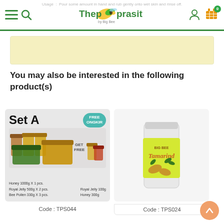Thepprasit by Big Bee — navigation header with menu, search, logo, user and cart icons
Usage : Pour some amount in hand and rub gently onto wet skin and rinse off.
[Figure (other): Yellow/cream colored banner advertisement area]
You may also be interested in the following product(s)
[Figure (photo): Product image: Set A bundle — Honey 1000g x 1 pcs., Royal Jelly 500g x 2 pcs., Bee Pollen 330g x 3 pcs. GET FREE Royal Jelly 100g, Honey 300g. FREE ONGKIR badge.]
Code : TPS044
[Figure (photo): Product image: Tamarind jar with yellow-green label by Big Bee brand]
Code : TPS024